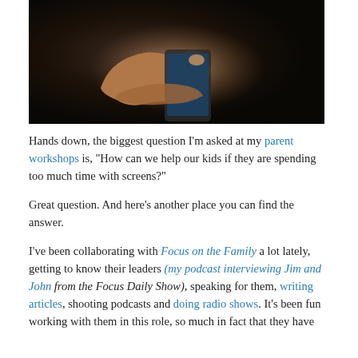[Figure (photo): A pair of hands holding and using a smartphone against a dark background.]
Hands down, the biggest question I'm asked at my parent workshops is, "How can we help our kids if they are spending too much time with screens?"
Great question. And here's another place you can find the answer.
I've been collaborating with Focus on the Family a lot lately, getting to know their leaders (my podcast interviewing Jim and John from the Focus Daily Show), speaking for them, writing articles, shooting podcasts and doing radio shows. It's been fun working with them in this role, so much in fact that they have